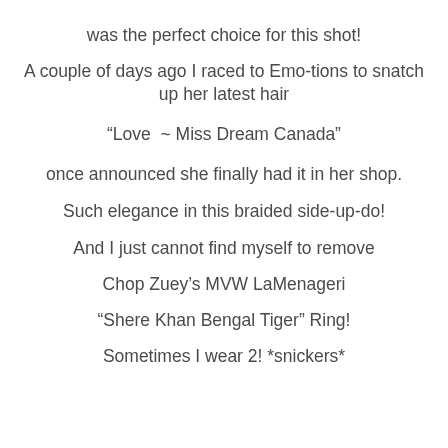was the perfect choice for this shot!
A couple of days ago I raced to Emo-tions to snatch up her latest hair
“Love  ~ Miss Dream Canada”
once announced she finally had it in her shop.
Such elegance in this braided side-up-do!
And I just cannot find myself to remove
Chop Zuey’s MVW LaMenageri
“Shere Khan Bengal Tiger” Ring!
Sometimes I wear 2! *snickers*